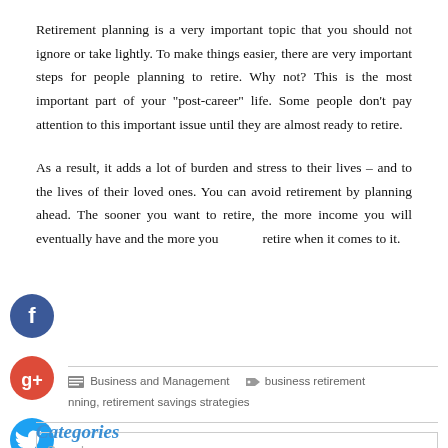Retirement planning is a very important topic that you should not ignore or take lightly. To make things easier, there are very important steps for people planning to retire. Why not? This is the most important part of your "post-career" life. Some people don't pay attention to this important issue until they are almost ready to retire.
As a result, it adds a lot of burden and stress to their lives – and to the lives of their loved ones. You can avoid retirement by planning ahead. The sooner you want to retire, the more income you will eventually have and the more you retire when it comes to it.
Business and Management   business retirement planning, retirement savings strategies
Search …
Categories